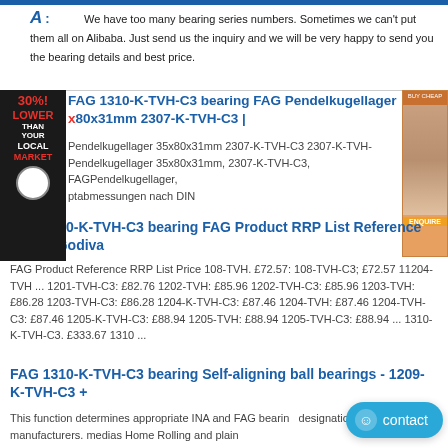A: We have too many bearing series numbers. Sometimes we can't put them all on Alibaba. Just send us the inquiry and we will be very happy to send you the bearing details and best price.
FAG 1310-K-TVH-C3 bearing FAG Pendelkugellager x80x31mm 2307-K-TVH-C3 |
Pendelkugellager 35x80x31mm 2307-K-TVH-C3 2307-K-TVH- Pendelkugellager 35x80x31mm, 2307-K-TVH-C3, FAGPendelkugellager, ptabmessungen nach DIN
FAG 1310-K-TVH-C3 bearing FAG Product RRP List Reference Price - Godiva
FAG Product Reference RRP List Price 108-TVH. £72.57: 108-TVH-C3; £72.57 11204-TVH ... 1201-TVH-C3: £82.76 1202-TVH: £85.96 1202-TVH-C3: £85.96 1203-TVH: £86.28 1203-TVH-C3: £86.28 1204-K-TVH-C3: £87.46 1204-TVH: £87.46 1204-TVH-C3: £87.46 1205-K-TVH-C3: £88.94 1205-TVH: £88.94 1205-TVH-C3: £88.94 ... 1310-K-TVH-C3. £333.67 1310 ...
FAG 1310-K-TVH-C3 bearing Self-aligning ball bearings - 1209-K-TVH-C3 +
This function determines appropriate INA and FAG bearing designations from other manufacturers. medias Home Rolling and plain